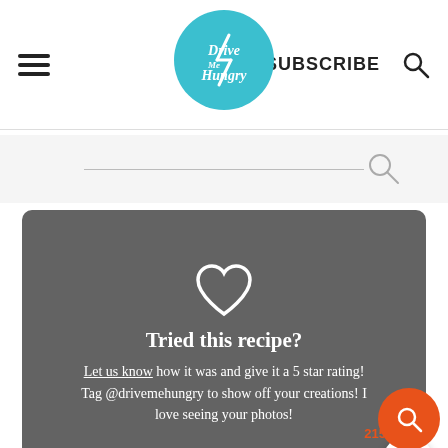Drive Me Hungry | SUBSCRIBE
[Figure (logo): Drive Me Hungry circular teal logo]
Tried this recipe? Let us know how it was and give it a 5 star rating! Tag @drivemehungry to show off your creations! I love seeing your photos!
*Nutritional information is an estimate, calculated using online tools.